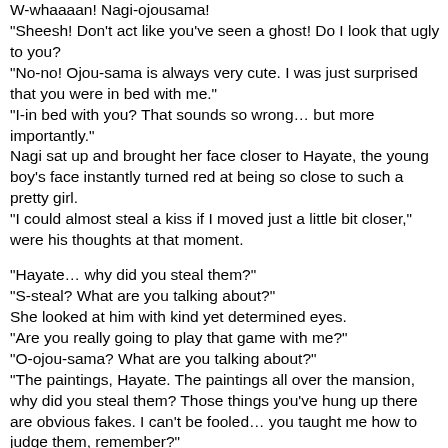W-whaaaan! Nagi-ojousama!
"Sheesh! Don't act like you've seen a ghost! Do I look that ugly to you?
"No-no! Ojou-sama is always very cute. I was just surprised that you were in bed with me."
"I-in bed with you? That sounds so wrong… but more importantly."
Nagi sat up and brought her face closer to Hayate, the young boy's face instantly turned red at being so close to such a pretty girl.
"I could almost steal a kiss if I moved just a little bit closer," were his thoughts at that moment.

"Hayate… why did you steal them?"
"S-steal? What are you talking about?"
She looked at him with kind yet determined eyes.
"Are you really going to play that game with me?"
"O-ojou-sama? What are you talking about?"
"The paintings, Hayate. The paintings all over the mansion, why did you steal them? Those things you've hung up there are obvious fakes. I can't be fooled… you taught me how to judge them, remember?"
At that moment, a look of shock registered in Hayate Ayasaki's face. There was no doubt that he was guilty of the accusation being thrown at him.
"S-so the obv-obviously, he had done this to keep a-alive."